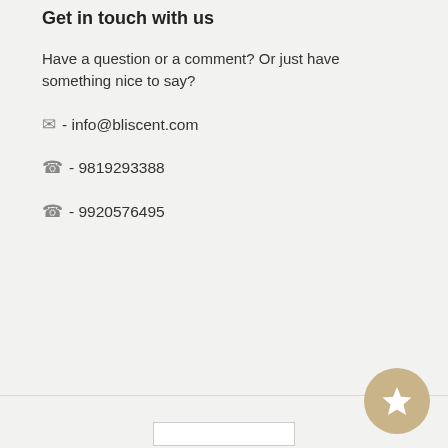Get in touch with us
Have a question or a comment? Or just have something nice to say?
✉ - info@bliscent.com
☎ - 9819293388
☎ - 9920576495